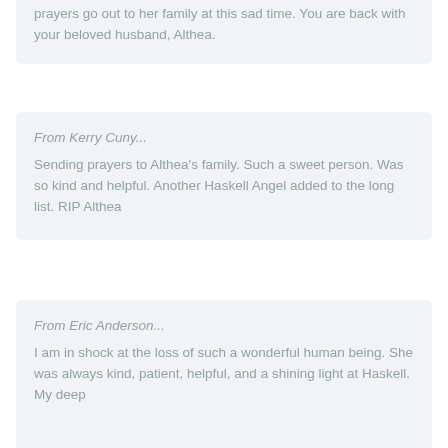prayers go out to her family at this sad time. You are back with your beloved husband, Althea.
From Kerry Cuny...
Sending prayers to Althea's family. Such a sweet person. Was so kind and helpful. Another Haskell Angel added to the long list. RIP Althea
From Eric Anderson...
I am in shock at the loss of such a wonderful human being. She was always kind, patient, helpful, and a shining light at Haskell. My deep